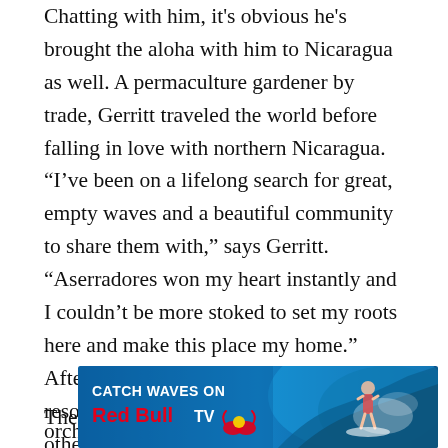Chatting with him, it's obvious he's brought the aloha with him to Nicaragua as well. A permaculture gardener by trade, Gerritt traveled the world before falling in love with northern Nicaragua. “I’ve been on a lifelong search for great, empty waves and a beautiful community to share them with,” says Gerritt. “Aserradores won my heart instantly and I couldn’t be more stoked to set my roots here and make this place my home.” After working for other surf camps and resorts in the area, Gerritt and a few others founded Amaru.
The
[Figure (advertisement): Red Bull TV advertisement banner with text 'CATCH WAVES ON Red Bull TV' and a surfer image on a blue ocean background]
orch